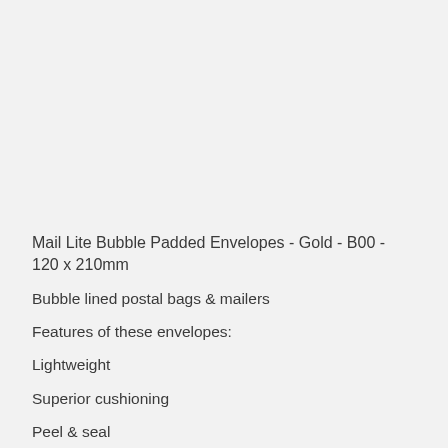Mail Lite Bubble Padded Envelopes - Gold - B00 - 120 x 210mm
Bubble lined postal bags & mailers
Features of these envelopes:
Lightweight
Superior cushioning
Peel & seal